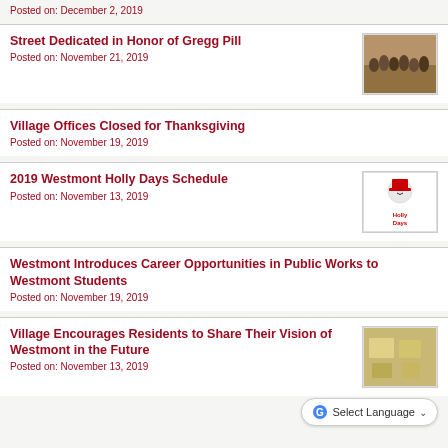Posted on: December 2, 2019
Street Dedicated in Honor of Gregg Pill
Posted on: November 21, 2019
[Figure (photo): Group photo of people at street dedication ceremony]
Village Offices Closed for Thanksgiving
Posted on: November 19, 2019
2019 Westmont Holly Days Schedule
Posted on: November 13, 2019
[Figure (logo): Holly Days logo with snowman graphic]
Westmont Introduces Career Opportunities in Public Works to Westmont Students
Posted on: November 19, 2019
Village Encourages Residents to Share Their Vision of Westmont in the Future
Posted on: November 13, 2019
[Figure (photo): Photo related to Village vision of Westmont future]